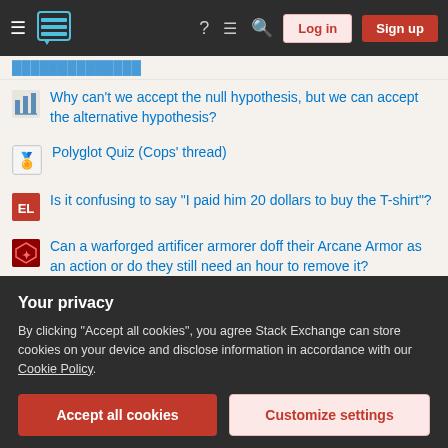Stack Exchange navigation bar with Log in and Sign up buttons
Why can't we accept the null hypothesis, but we can accept the alternative hypothesis?
Polyglot Quiz (Cops' thread)
Is it confusing to say "I paid him 20 dollars to buy the T-shirt"?
Can a warforged artificer armorer doff their Arcane Armor as an action or do they still need an hour to remove it?
Can I replace a 4x6 for a swing with a 4x4 sandwiched with a 2x4?
Why is the spot price of electricity determined by the highest price that gets offered? Can't they scale it according to the actually offered prices?
Extension of first order deformations of a line bundle
Your privacy
By clicking "Accept all cookies", you agree Stack Exchange can store cookies on your device and disclose information in accordance with our Cookie Policy.
Accept all cookies | Customize settings
Live a longer life